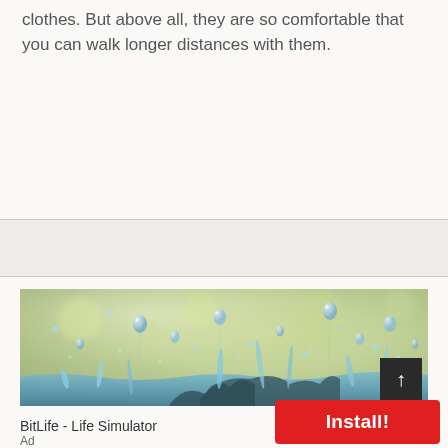clothes. But above all, they are so comfortable that you can walk longer distances with them.
[Figure (photo): Close-up macro photograph of water droplets splashing on a surface, with a blurred yellow-green background. Multiple water droplets are suspended mid-air.]
BitLife - Life Simulator
Ad